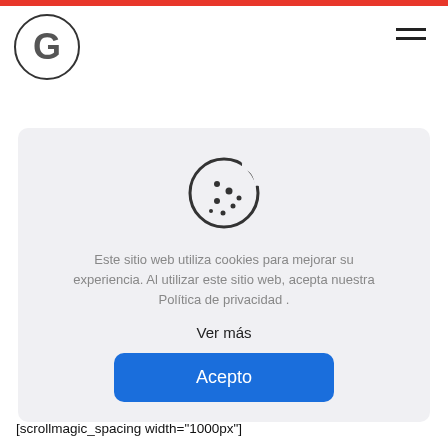!important}][vc_btn title="Multiplications" style="custom" custom_background="#f0002f" custom_text="#ffffff" shape="round" size="lg" el_class="ope-btn_1"][vc_btn title="Illustrations" style="custom" custom_background="#f0002f" custom_text="#ffffff" shape="round" size="lg" el_class="ope-btn_1"][vc_btn title="Resize" style="custom" custom_background="#f0002f
[Figure (illustration): Cookie consent dialog with cookie icon, Spanish text 'Este sitio web utiliza cookies para mejorar su experiencia. Al utilizar este sitio web, acepta nuestra Política de privacidad .', a 'Ver más' link, and an 'Acepto' button]
[scrollmagic_spacing width="1000px"]